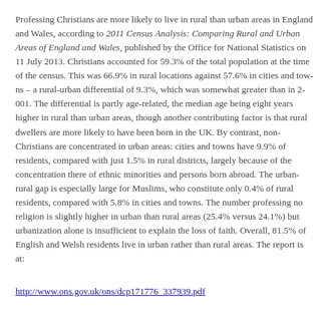Professing Christians are more likely to live in rural than urban areas in England and Wales, according to 2011 Census Analysis: Comparing Rural and Urban Areas of England and Wales, published by the Office for National Statistics on 11 July 2013. Christians accounted for 59.3% of the total population at the time of the census. This was 66.9% in rural locations against 57.6% in cities and towns – a rural-urban differential of 9.3%, which was somewhat greater than in 2001. The differential is partly age-related, the median age being eight years higher in rural than urban areas, though another contributing factor is that rural dwellers are more likely to have been born in the UK. By contrast, non-Christians are concentrated in urban areas: cities and towns have 9.9% of residents, compared with just 1.5% in rural districts, largely because of the concentration there of ethnic minorities and persons born abroad. The urban-rural gap is especially large for Muslims, who constitute only 0.4% of rural residents, compared with 5.8% in cities and towns. The number professing no religion is slightly higher in urban than rural areas (25.4% versus 24.1%) but urbanization alone is insufficient to explain the loss of faith. Overall, 81.5% of English and Welsh residents live in urban rather than rural areas. The report is at:
http://www.ons.gov.uk/ons/dcp171776_337939.pdf